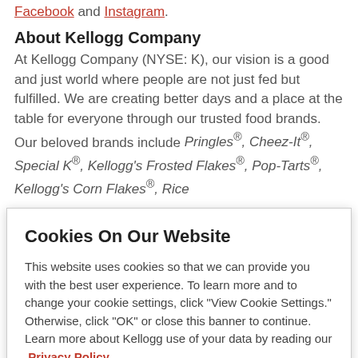Facebook and Instagram.
About Kellogg Company
At Kellogg Company (NYSE: K), our vision is a good and just world where people are not just fed but fulfilled. We are creating better days and a place at the table for everyone through our trusted food brands. Our beloved brands include Pringles®, Cheez-It®, Special K®, Kellogg's Frosted Flakes®, Pop-Tarts®, Kellogg's Corn Flakes®, Rice
Cookies On Our Website
This website uses cookies so that we can provide you with the best user experience. To learn more and to change your cookie settings, click "View Cookie Settings." Otherwise, click "OK" or close this banner to continue. Learn more about Kellogg use of your data by reading our Privacy Policy.
Cookie Preferences
OK